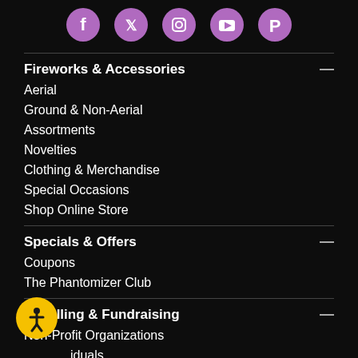[Figure (illustration): Row of social media icons: Facebook, Twitter, Instagram, YouTube, Pinterest — purple/pink colored circles on dark background]
Fireworks & Accessories
Aerial
Ground & Non-Aerial
Assortments
Novelties
Clothing & Merchandise
Special Occasions
Shop Online Store
Specials & Offers
Coupons
The Phantomizer Club
Reselling & Fundraising
Non-Profit Organizations
Individuals
Property Owners
[Figure (illustration): Yellow circular accessibility widget icon with human figure silhouette]